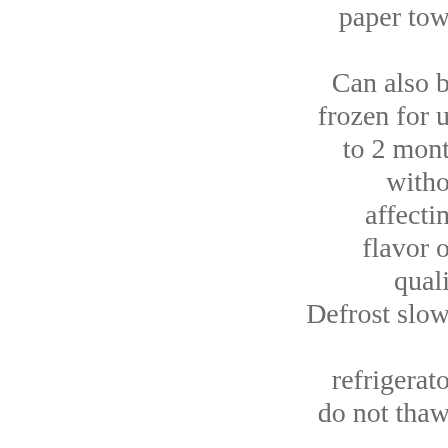paper tow

Can also b
frozen for u
to 2 mont
witho
affectin
flavor o
quali
Defrost slow

refrigerate
do not thaw

roo